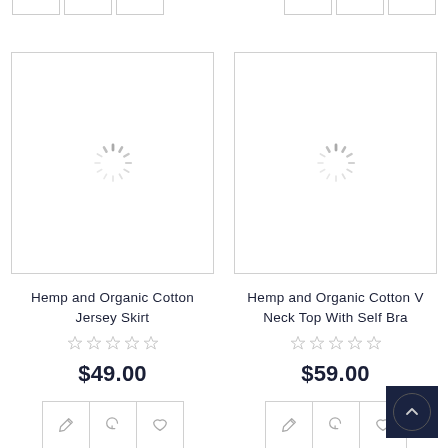[Figure (screenshot): E-commerce product listing page showing two product cards. Left card: Hemp and Organic Cotton Jersey Skirt, $49.00, 5 empty stars, action buttons. Right card: Hemp and Organic Cotton V Neck Top With Self Bra, $59.00, 5 empty stars, action buttons. Both cards show loading spinner placeholders for product images. A scroll-to-top button appears at bottom right.]